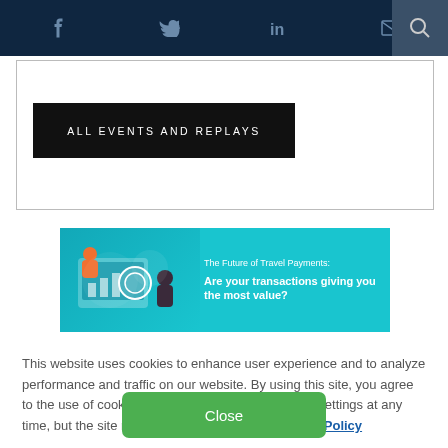Social media icons and search bar navigation
ALL EVENTS AND REPLAYS
[Figure (illustration): Travel payments promotional banner showing two people interacting with a large screen/dashboard. Text reads: The Future of Travel Payments: Are your transactions giving you the most value?]
This website uses cookies to enhance user experience and to analyze performance and traffic on our website. By using this site, you agree to the use of cookies. You may change your cookie settings at any time, but the site may not function properly. Cookie Policy
Close